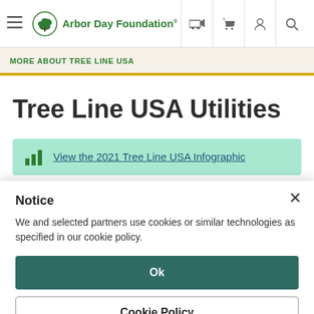Arbor Day Foundation navigation bar with hamburger menu, logo, truck icon, cart icon, user icon, search icon
MORE ABOUT TREE LINE USA
Tree Line USA Utilities
View the 2021 Tree Line USA Infographic
Notice
We and selected partners use cookies or similar technologies as specified in our cookie policy.
Ok
Cookie Policy